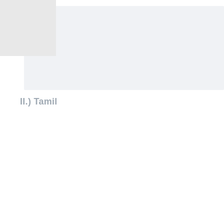[Figure (other): Gray rectangular image placeholder block at top of page]
II.) Tamil